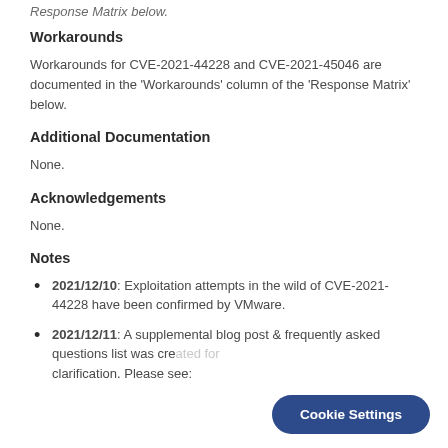Response Matrix below.
Workarounds
Workarounds for CVE-2021-44228 and CVE-2021-45046 are documented in the 'Workarounds' column of the 'Response Matrix' below.
Additional Documentation
None.
Acknowledgements
None.
Notes
2021/12/10: Exploitation attempts in the wild of CVE-2021-44228 have been confirmed by VMware.
2021/12/11: A supplemental blog post & frequently asked questions list was created for clarification. Please see: